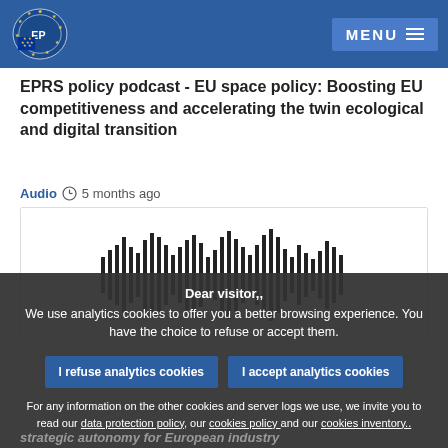MENU
EPRS policy podcast - EU space policy: Boosting EU competitiveness and accelerating the twin ecological and digital transition
Audio  5 months ago
[Figure (screenshot): Audio waveform player showing podcast audio visualization with vertical bars of varying heights]
Dear visitor,, We use analytics cookies to offer you a better browsing experience. You have the choice to refuse or accept them.
I refuse analytics cookies   I accept analytics cookies
For any information on the other cookies and server logs we use, we invite you to read our data protection policy, our cookies policy and our cookies inventory..
strategic autonomy for European industry